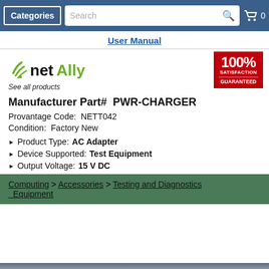Categories | Search | 0
User Manual
[Figure (logo): netAlly logo with Wi-Fi signal icon in green]
See all products
Manufacturer Part#  PWR-CHARGER
Provantage Code:  NETT042
Condition:  Factory New
Product Type: AC Adapter
Device Supported: Test Equipment
Output Voltage: 15 V DC
Computing > Accessories > Testing and Diagnostics Equipment